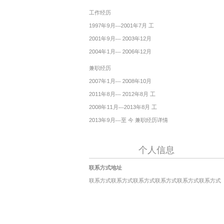工作经历
1997年9月---2001年7月 工作
2001年9月--- 2003年12月
2004年1月--- 2006年12月
兼职经历
2007年1月--- 2008年10月
2011年8月--- 2012年8月 工作
2008年11月---2013年8月 工
2013年9月---至 今 兼职经历详情
个人信息
联系方式地址
联系方式联系方式联系方式联系方式联系方式联系方式